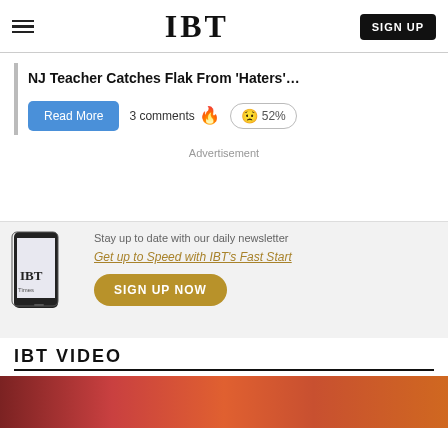IBT
NJ Teacher Catches Flak From 'Haters'…
Read More  3 comments  52%
Advertisement
Stay up to date with our daily newsletter  Get up to Speed with IBT's Fast Start  SIGN UP NOW
IBT VIDEO
[Figure (photo): Video thumbnail at bottom of page]